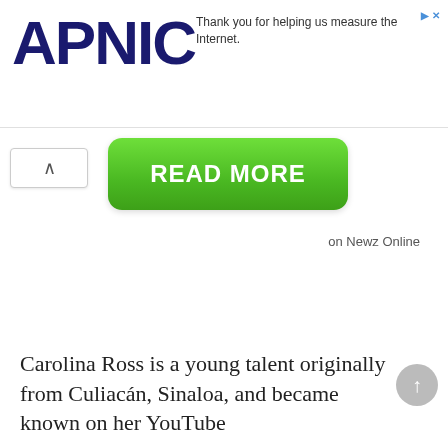[Figure (logo): APNIC logo in dark navy blue bold text]
Thank you for helping us measure the Internet.
[Figure (other): Green rounded rectangle button with text READ MORE]
on Newz Online
Carolina Ross is a young talent originally from Culiacán, Sinaloa, and became known on her YouTube